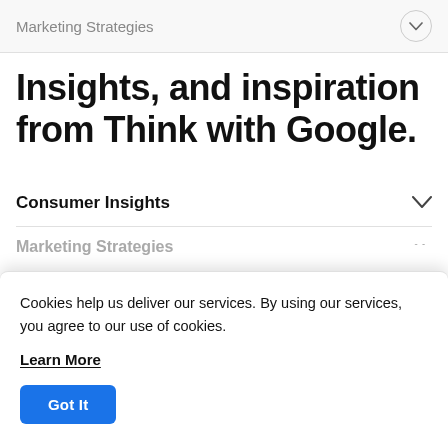Marketing Strategies
Insights, and inspiration from Think with Google.
Consumer Insights
Marketing Strategies
Cookies help us deliver our services. By using our services, you agree to our use of cookies.
Learn More
Got It